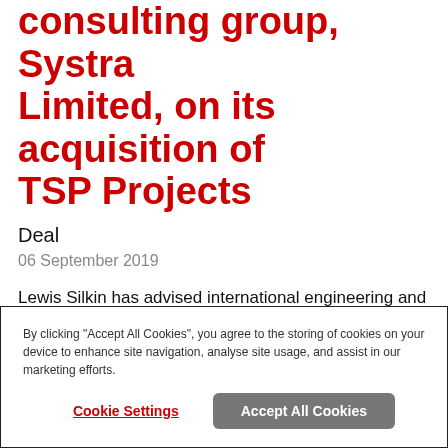consulting group, Systra Limited, on its acquisition of TSP Projects
Deal
06 September 2019
Lewis Silkin has advised international engineering and consulting group, Systra Limited, on its acquisition of TSP Projects.
By clicking "Accept All Cookies", you agree to the storing of cookies on your device to enhance site navigation, analyse site usage, and assist in our marketing efforts.